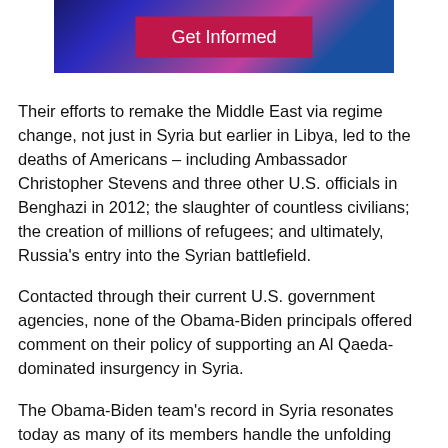[Figure (photo): Photo of colorful illuminated screens/tablets with a pink 'Get Informed' button overlay]
Their efforts to remake the Middle East via regime change, not just in Syria but earlier in Libya, led to the deaths of Americans – including Ambassador Christopher Stevens and three other U.S. officials in Benghazi in 2012; the slaughter of countless civilians; the creation of millions of refugees; and ultimately, Russia's entry into the Syrian battlefield.
Contacted through their current U.S. government agencies, none of the Obama-Biden principals offered comment on their policy of supporting an Al Qaeda-dominated insurgency in Syria.
The Obama-Biden team's record in Syria resonates today as many of its members handle the unfolding crisis in Ukraine. As in Syria, the U.S. is flooding a chaotic war zone with weapons in a dan[gerous situation posing a] threat of milita[ry escalation].